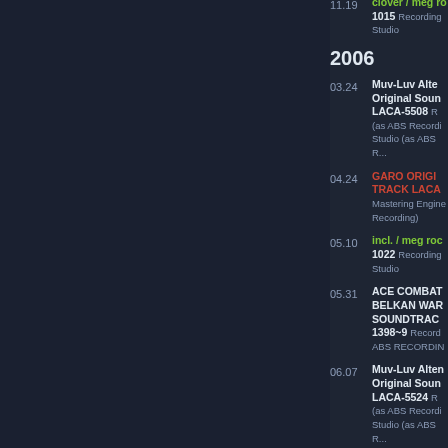11.19 clover / meg ro... 1015 Recording Studio
2006
03.24 Muv-Luv Alte... Original Soun... LACA-5508 R... (as ABS Recordi... Studio (as ABS R...
04.24 GARO ORIGI... TRACK LACA... Mastering Engine... Recording)
05.10 incl. / meg roc... 1022 Recording Studio
05.31 ACE COMBAT... BELKAN WAR... SOUNDTRAC... 1398~9 Record... ABS RECORDIN...
06.07 Muv-Luv Alten... Original Soun... LACA-5524 R... (as ABS Recordi... Studio (as ABS R...
06.07 Sanctuary / N...